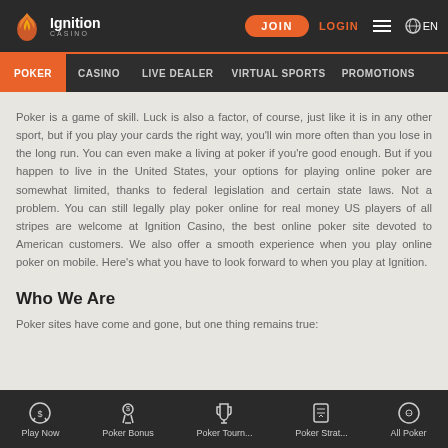Ignition Casino - JOIN | LOGIN | EN
POKER | CASINO | LIVE DEALER | VIRTUAL SPORTS | PROMOTIONS
Poker is a game of skill. Luck is also a factor, of course, just like it is in any other sport, but if you play your cards the right way, you'll win more often than you lose in the long run. You can even make a living at poker if you're good enough. But if you happen to live in the United States, your options for playing online poker are somewhat limited, thanks to federal legislation and certain state laws. Not a problem. You can still legally play poker online for real money US players of all stripes are welcome at Ignition Casino, the best online poker site devoted to American customers. We also offer a smooth experience when you play online poker on mobile. Here's what you have to look forward to when you play at Ignition.
Who We Are
Poker sites have come and gone, but one thing remains true:
Play Now | Poker Bonus | Poker Tourn... | Poker Strat... | All Poker